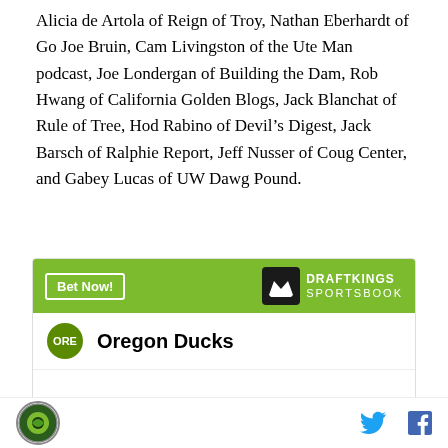Alicia de Artola of Reign of Troy, Nathan Eberhardt of Go Joe Bruin, Cam Livingston of the Ute Man podcast, Joe Londergan of Building the Dam, Rob Hwang of California Golden Blogs, Jack Blanchat of Rule of Tree, Hod Rabino of Devil's Digest, Jack Barsch of Ralphie Report, Jeff Nusser of Coug Center, and Gabey Lucas of UW Dawg Pound.
[Figure (other): DraftKings Sportsbook widget showing Oregon Ducks with +5000 odds to win National championship. Green header bar with 'Bet Now!' button and DraftKings Sportsbook logo.]
Oregon Ducks logo | Twitter icon | Facebook icon